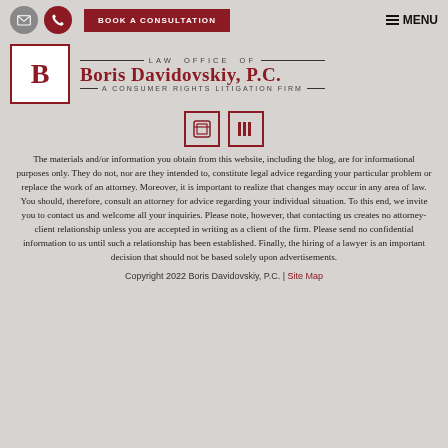BOOK A CONSULTATION | MENU
[Figure (logo): Law Office of Boris Davidovskiy, P.C. — A Consumer Rights Litigation Firm logo with stylized BD monogram in a bordered box]
[Figure (other): Two social media icon placeholders in dark red outlined boxes]
The materials and/or information you obtain from this website, including the blog, are for informational purposes only. They do not, nor are they intended to, constitute legal advice regarding your particular problem or replace the work of an attorney. Moreover, it is important to realize that changes may occur in any area of law. You should, therefore, consult an attorney for advice regarding your individual situation. To this end, we invite you to contact us and welcome all your inquiries. Please note, however, that contacting us creates no attorney-client relationship unless you are accepted in writing as a client of the firm. Please send no confidential information to us until such a relationship has been established. Finally, the hiring of a lawyer is an important decision that should not be based solely upon advertisements.
Copyright 2022 Boris Davidovskiy, P.C. | Site Map